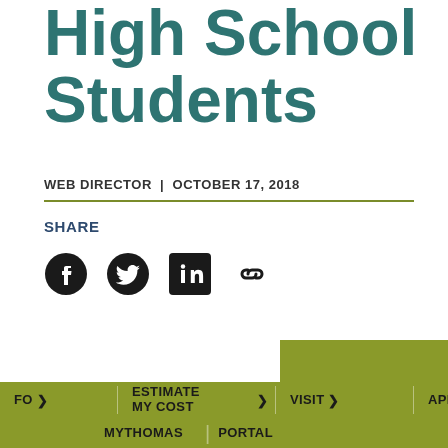High School Students
WEB DIRECTOR | OCTOBER 17, 2018
SHARE
[Figure (infographic): Social sharing icons: Facebook, Twitter, LinkedIn, and a chain/link icon arranged horizontally]
[Figure (infographic): Partial olive/yellow-green banner on right side]
FO > | ESTIMATE MY COST > | VISIT > | APPLY
MYTHOMAS | PORTAL